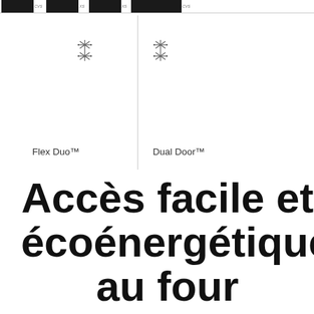Product images header strip
Flex Duo™  |  Dual Door™
Accès facile et écoénergétique au four